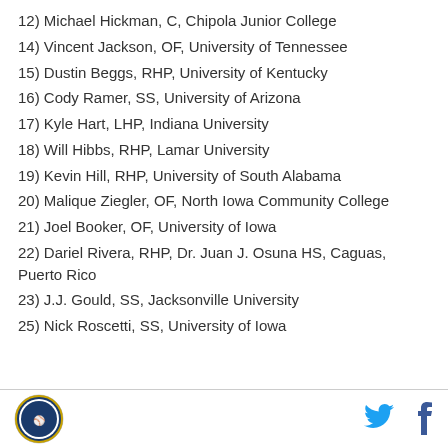12) Michael Hickman, C, Chipola Junior College
14) Vincent Jackson, OF, University of Tennessee
15) Dustin Beggs, RHP, University of Kentucky
16) Cody Ramer, SS, University of Arizona
17) Kyle Hart, LHP, Indiana University
18) Will Hibbs, RHP, Lamar University
19) Kevin Hill, RHP, University of South Alabama
20) Malique Ziegler, OF, North Iowa Community College
21) Joel Booker, OF, University of Iowa
22) Dariel Rivera, RHP, Dr. Juan J. Osuna HS, Caguas, Puerto Rico
23) J.J. Gould, SS, Jacksonville University
25) Nick Roscetti, SS, University of Iowa
[Figure (logo): Baseball organization circular logo in bottom left footer]
[Figure (logo): Twitter bird icon in footer]
[Figure (logo): Facebook f icon in footer]